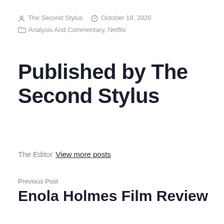The Second Stylus   October 19, 2020   Analysis And Commentary, Netflix
Published by The Second Stylus
The Editor View more posts
Previous Post
Enola Holmes Film Review